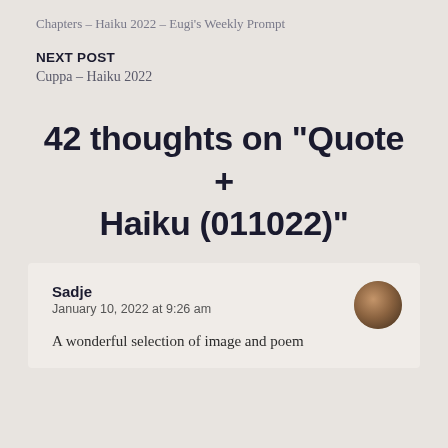Chapters – Haiku 2022 – Eugi's Weekly Prompt
NEXT POST
Cuppa – Haiku 2022
42 thoughts on “Quote + Haiku (011022)”
Sadje
January 10, 2022 at 9:26 am

A wonderful selection of image and poem